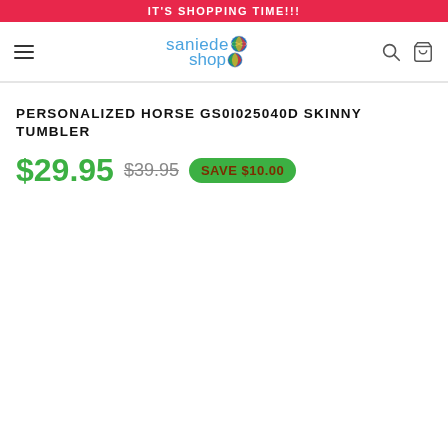IT'S SHOPPING TIME!!!
[Figure (logo): Saniede Shop logo with colorful globe icon]
PERSONALIZED HORSE GS0I025040D SKINNY TUMBLER
$29.95  $39.95  SAVE $10.00